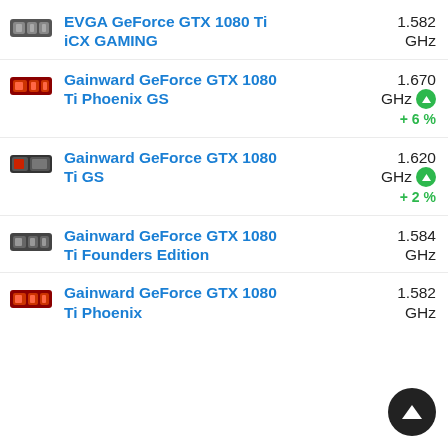EVGA GeForce GTX 1080 Ti iCX GAMING — 1.582 GHz
Gainward GeForce GTX 1080 Ti Phoenix GS — 1.670 GHz +6%
Gainward GeForce GTX 1080 Ti GS — 1.620 GHz +2%
Gainward GeForce GTX 1080 Ti Founders Edition — 1.584 GHz
Gainward GeForce GTX 1080 Ti Phoenix — 1.582 GHz